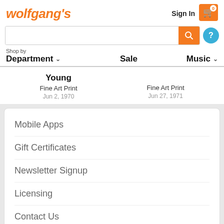wolfgang's
Sign In  0
Shop by Department  Sale  Music
Young
Fine Art Print
Jun 2, 1970
Fine Art Print
Jun 27, 1971
Mobile Apps
Gift Certificates
Newsletter Signup
Licensing
Contact Us
About Us